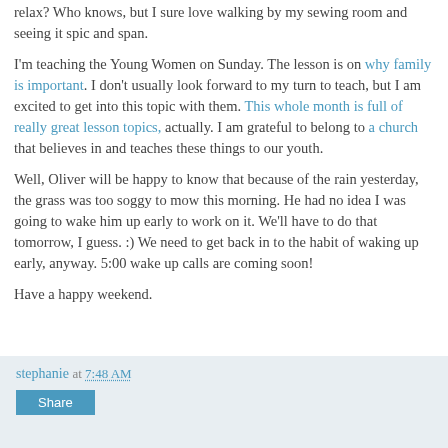relax? Who knows, but I sure love walking by my sewing room and seeing it spic and span.
I'm teaching the Young Women on Sunday. The lesson is on why family is important. I don't usually look forward to my turn to teach, but I am excited to get into this topic with them. This whole month is full of really great lesson topics, actually. I am grateful to belong to a church that believes in and teaches these things to our youth.
Well, Oliver will be happy to know that because of the rain yesterday, the grass was too soggy to mow this morning. He had no idea I was going to wake him up early to work on it. We'll have to do that tomorrow, I guess. :) We need to get back in to the habit of waking up early, anyway. 5:00 wake up calls are coming soon!
Have a happy weekend.
stephanie at 7:48 AM